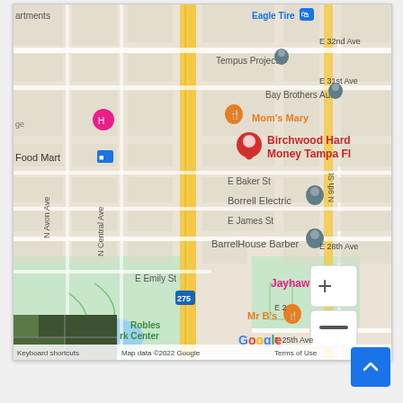[Figure (map): Google Maps screenshot showing street map of Tampa, FL area near I-275. Shows location pin for 'Birchwood Hard Money Tampa FL'. Nearby landmarks include Eagle Tire, Tempus Projects, Bay Brothers Auto, Mom's Mary, Food Mart, Borrell Electric, BarrelHouse Barber, Jayhawk, Mr B's, Robles Park Center. Streets visible include E 32nd Ave, E 31st Ave, E Baker St, E James St, E 28th Ave, E Emily St, E 25th Ave, N Avon Ave, N Central Ave, N 9th St. Map data ©2022 Google.]